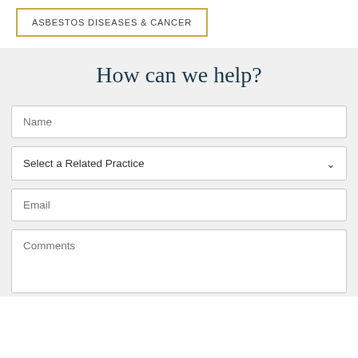ASBESTOS DISEASES & CANCER
How can we help?
Name
Select a Related Practice
Email
Comments